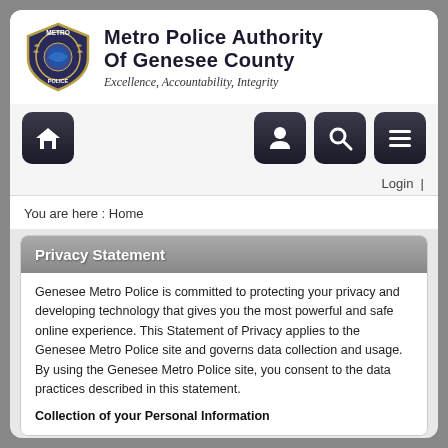[Figure (logo): Metro Police Authority of Genesee County badge/shield logo in dark blue and gold]
Metro Police Authority of Genesee County
Excellence, Accountability, Integrity
[Figure (infographic): Navigation buttons: home icon, person/staff icon, search/magnifying glass icon, list/menu icon]
Login  |
You are here : Home
Privacy Statement
Genesee Metro Police is committed to protecting your privacy and developing technology that gives you the most powerful and safe online experience. This Statement of Privacy applies to the Genesee Metro Police site and governs data collection and usage. By using the Genesee Metro Police site, you consent to the data practices described in this statement.
Collection of your Personal Information